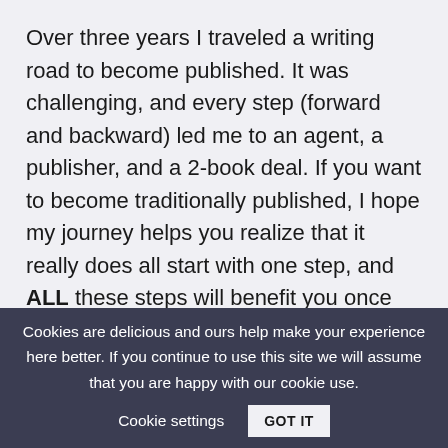Over three years I traveled a writing road to become published. It was challenging, and every step (forward and backward) led me to an agent, a publisher, and a 2-book deal. If you want to become traditionally published, I hope my journey helps you realize that it really does all start with one step, and ALL these steps will benefit you once you get that book deal.
Cookies are delicious and ours help make your experience here better. If you continue to use this site we will assume that you are happy with our cookie use.   Cookie settings   GOT IT